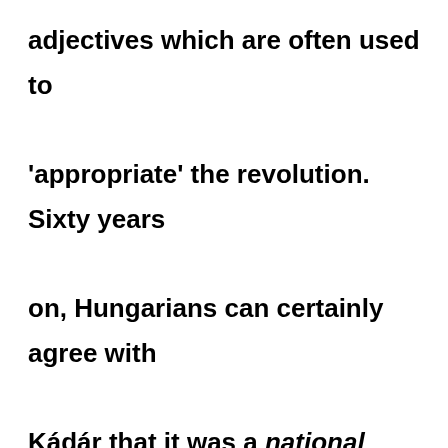adjectives which are often used to 'appropriate' the revolution. Sixty years on, Hungarians can certainly agree with Kádár that it was a national tragedy which needs to be commemorated as such, but as a historical event, if we accept that it was not simply a spontaneous 'insurrection','uprising' or 'revolt', but that it was a revolution, was it a